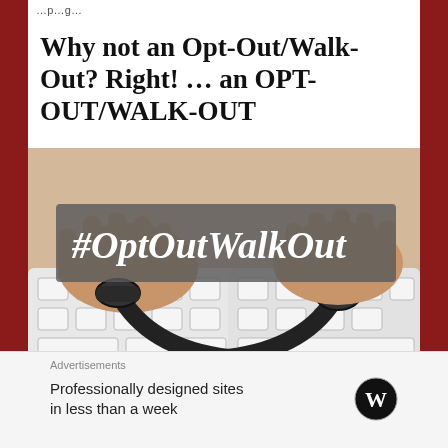…p…g…
Why not an Opt-Out/Walk-Out? Right! … an OPT-OUT/WALK-OUT
[Figure (photo): Hands handcuffed together typing on a white keyboard, with a dark gray semi-transparent banner overlay reading '#OptOutWalkOut' in white italic text.]
Advertisements
Professionally designed sites in less than a week